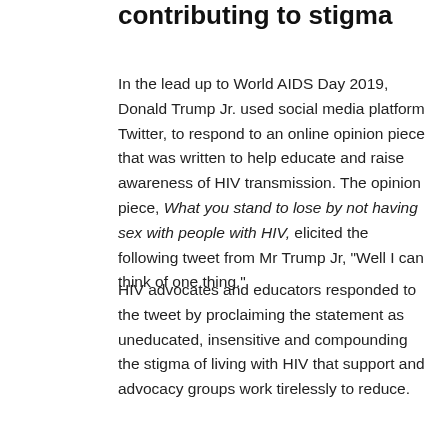contributing to stigma
In the lead up to World AIDS Day 2019, Donald Trump Jr. used social media platform Twitter, to respond to an online opinion piece that was written to help educate and raise awareness of HIV transmission. The opinion piece, What you stand to lose by not having sex with people with HIV, elicited the following tweet from Mr Trump Jr, "Well I can think of one thing."
HIV advocates and educators responded to the tweet by proclaiming the statement as uneducated, insensitive and compounding the stigma of living with HIV that support and advocacy groups work tirelessly to reduce.